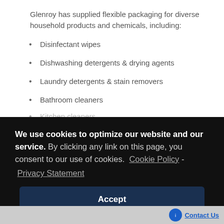Glenroy has supplied flexible packaging for diverse household products and chemicals, including:
Disinfectant wipes
Dishwashing detergents & drying agents
Laundry detergents & stain removers
Bathroom cleaners
Kitchen cleaners
We use cookies to optimize our website and our service. By clicking any link on this page, you consent to our use of cookies. Cookie Policy - Privacy Statement
Accept